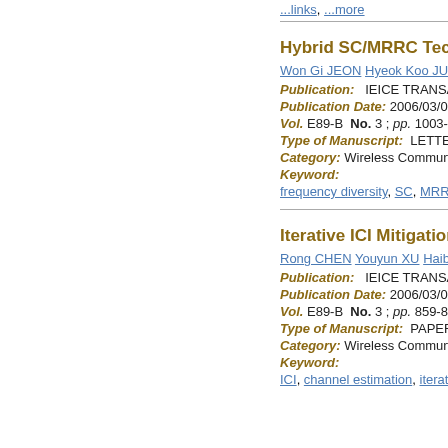...links truncated...
Hybrid SC/MRRC Techniqu...
Won Gi JEON  Hyeok Koo JUNG
Publication:   IEICE TRANSACTION...
Publication Date:  2006/03/01
Vol. E89-B  No. 3 ; pp. 1003-1006
Type of Manuscript:  LETTER
Category:  Wireless Communication T...
Keyword:
frequency diversity, SC, MRRC, OFD...
Iterative ICI Mitigation Met...
Rong CHEN  Youyun XU  Haibin ZHA...
Publication:   IEICE TRANSACTION...
Publication Date:  2006/03/01
Vol. E89-B  No. 3 ; pp. 859-866
Type of Manuscript:  PAPER
Category:  Wireless Communication T...
Keyword:
ICI, channel estimation, iterative recei...